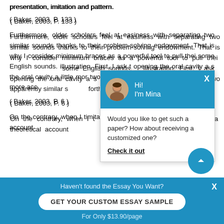presentation, imitation and pattern.
( Baker, 2003, P. 133 )
Furthermore, older scholars feel at easiness with separating two similar sounds thanks to their problem-solving endowment. That is why I consider minimum braces as a powerful tool to pull their attention to the distinction of some English sounds. Let me clarify this idea with an illustration. First, I ask them to pronounce the sound [æ] opening the oral cavity a slightly, then I ask them to open the oral cavity a little more to pronounce [a:], these two apparently similar sounds can be distinguished by bringing forth the sounds more accurately.
( Baker, 2003, P. 6 )
On the contrary, when I teach these sounds I combine imitation and repeat with a theoretical account
[Figure (screenshot): Chat popup widget with avatar of Mina, greeting 'Hi! I'm Mina', message 'Would you like to get such a paper? How about receiving a customized one?' and 'Check it out' link.]
Haven't found the Essay You Want?
GET YOUR CUSTOM ESSAY SAMPLE
For Only $13.90/page